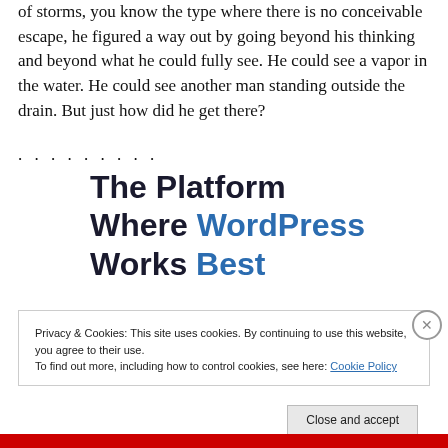of storms, you know the type where there is no conceivable escape, he figured a way out by going beyond his thinking and beyond what he could fully see. He could see a vapor in the water. He could see another man standing outside the drain. But just how did he get there?
. . . . . . . . .
The Platform Where WordPress Works Best
Privacy & Cookies: This site uses cookies. By continuing to use this website, you agree to their use.
To find out more, including how to control cookies, see here: Cookie Policy
Close and accept